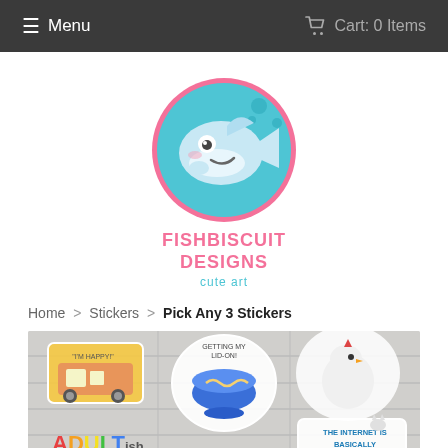≡ Menu   🛒 Cart: 0 Items
[Figure (logo): FishBiscuit Designs cute art logo — cartoon fish in a pink circle with text FISHBISCUIT DESIGNS and cute art below]
Home > Stickers > Pick Any 3 Stickers
[Figure (photo): Product image showing various cute stickers including a happy camper trailer, ramen bowl saying 'getting my lid-on!', a chicken, ADULTish, 'the internet is basically 99% cat memes', and text 'Any 3 stickers' with a price partially visible]